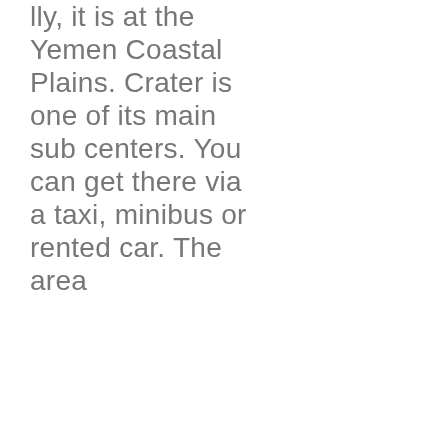lly, it is at the Yemen Coastal Plains. Crater is one of its main sub centers. You can get there via a taxi, minibus or rented car. The area